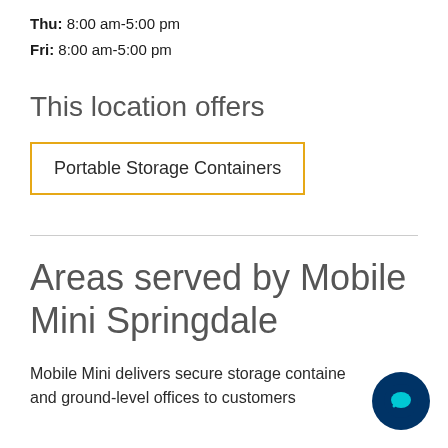Thu: 8:00 am-5:00 pm
Fri: 8:00 am-5:00 pm
This location offers
Portable Storage Containers
Areas served by Mobile Mini Springdale
Mobile Mini delivers secure storage containers and ground-level offices to customers